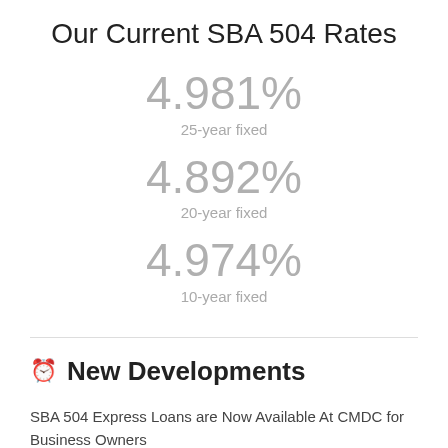Our Current SBA 504 Rates
4.981%
25-year fixed
4.892%
20-year fixed
4.974%
10-year fixed
New Developments
SBA 504 Express Loans are Now Available At CMDC for Business Owners
How Smart Business Owners are Finding Certainty in Today's Rising...